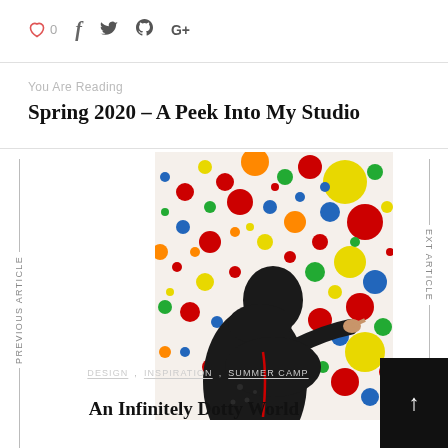♡ 0  f  𝕥  ⊕  G+
You Are Reading
Spring 2020 – A Peek Into My Studio
[Figure (photo): A person touching a white wall covered in colorful polka dots of varying sizes (red, yellow, blue, green, orange). The dots are part of an art installation. The person is seen from the side with dark hair.]
PREVIOUS ARTICLE
EXT ARTICLE
DESIGN , INSPIRATION , SUMMER CAMP
An Infinitely Dotty World